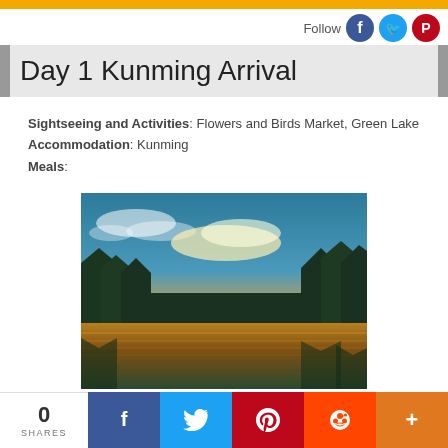Follow
Day 1 Kunming Arrival
Sightseeing and Activities: Flowers and Birds Market, Green Lake
Accommodation: Kunming
Meals:
[Figure (photo): Scenic lake at sunset with reflections of golden sky and silhouetted trees in calm water]
0 SHARES